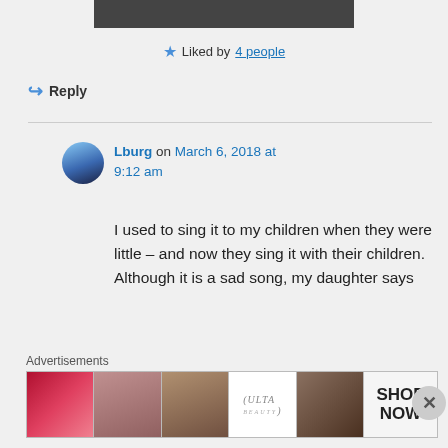[Figure (photo): Cropped black and white photo strip at top of page]
★ Liked by 4 people
↪ Reply
Lburg on March 6, 2018 at 9:12 am
I used to sing it to my children when they were little – and now they sing it with their children. Although it is a sad song, my daughter says
Advertisements
[Figure (photo): Advertisement banner showing beauty/makeup products with ULTA logo and SHOP NOW text]